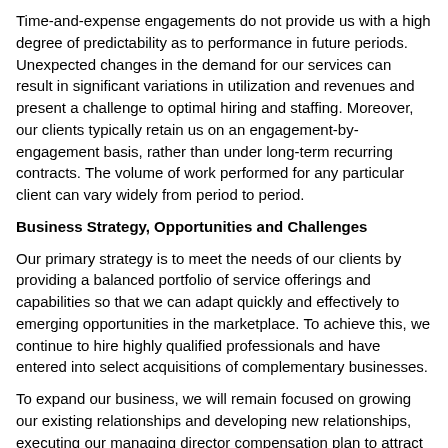Time-and-expense engagements do not provide us with a high degree of predictability as to performance in future periods. Unexpected changes in the demand for our services can result in significant variations in utilization and revenues and present a challenge to optimal hiring and staffing. Moreover, our clients typically retain us on an engagement-by-engagement basis, rather than under long-term recurring contracts. The volume of work performed for any particular client can vary widely from period to period.
Business Strategy, Opportunities and Challenges
Our primary strategy is to meet the needs of our clients by providing a balanced portfolio of service offerings and capabilities so that we can adapt quickly and effectively to emerging opportunities in the marketplace. To achieve this, we continue to hire highly qualified professionals and have entered into select acquisitions of complementary businesses.
To expand our business, we will remain focused on growing our existing relationships and developing new relationships, executing our managing director compensation plan to attract and retain senior practitioners, continuing to promote and provide an integrated approach to service delivery, broadening the scope of our existing services, and acquiring complementary businesses. We will regularly evaluate the performance of our practices to ensure our investments meet these objectives. Furthermore, we intend to enhance our visibility in the marketplace by